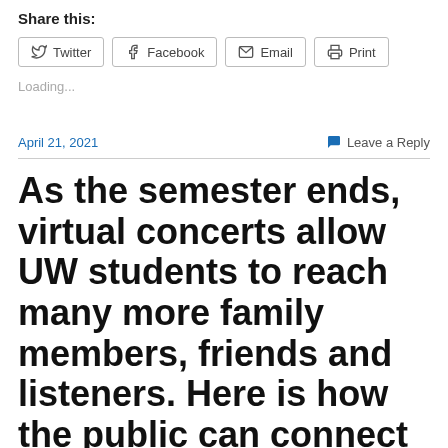Share this:
Twitter
Facebook
Email
Print
Loading...
April 21, 2021
Leave a Reply
As the semester ends, virtual concerts allow UW students to reach many more family members, friends and listeners. Here is how the public can connect to them